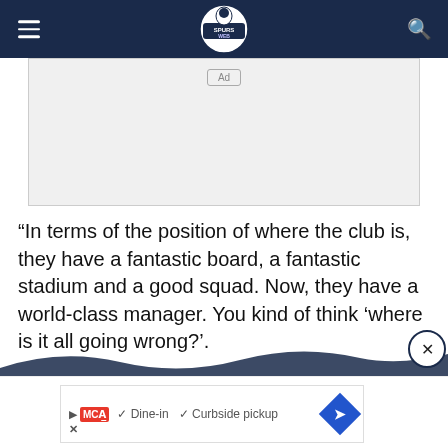Spurs Web
[Figure (other): Ad placeholder box with 'Ad' label]
“In terms of the position of where the club is, they have a fantastic board, a fantastic stadium and a good squad. Now, they have a world-class manager. You kind of think ‘where is it all going wrong?’.
[Figure (other): Bottom advertisement strip with McDonald's logo, Dine-in and Curbside pickup checkmarks, navigation arrow diamond, and close X button]